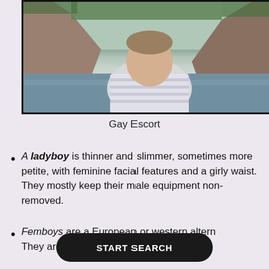[Figure (photo): A man in a striped shirt sitting outdoors with rocky cliffs and water in the background]
Gay Escort
A ladyboy is thinner and slimmer, sometimes more petite, with feminine facial features and a girly waist. They mostly keep their male equipment non-removed.
Femboys are a European or western altern... They are looking more mature, similarly to drag...
START SEARCH